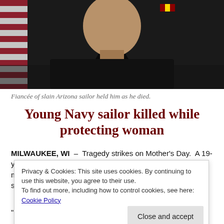[Figure (photo): Person in dark Navy uniform with an American flag in the background, with a ribbon/insignia visible on chest]
Fiancée of slain Arizona sailor held him as he died.
Young Navy sailor killed while protecting woman
MILWAUKEE, WI – Tragedy strikes on Mother's Day. A 19-year-old Navy sailor was killed in West Allis Sunday morning, May 8. Phoenix Castanon is usually the first sibling to tell his mom "Happy Mother's Day." This year
Privacy & Cookies: This site uses cookies. By continuing to use this website, you agree to their use. To find out more, including how to control cookies, see here: Cookie Policy
"He had a heart of gold, he was a protector," Tiata Nez-